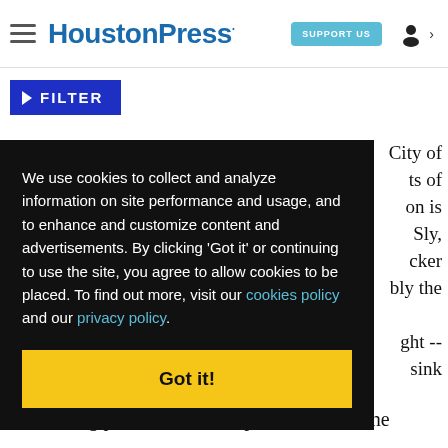HoustonPress | SUPPORT US
▶ FILTER
We use cookies to collect and analyze information on site performance and usage, and to enhance and customize content and advertisements. By clicking 'Got it' or continuing to use the site, you agree to allow cookies to be placed. To find out more, visit our cookies policy and our privacy policy.
Got it!
another big plus. "Milo," Simpleton's ode to the